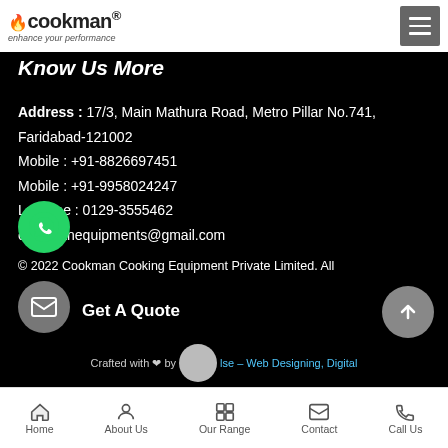cookman enhance your performance
Know Us More
Address : 17/3, Main Mathura Road, Metro Pillar No.741, Faridabad-121002
Mobile : +91-8826697451
Mobile : +91-9958024247
Landline : 0129-3555462
cookmanequipments@gmail.com
© 2022 Cookman Cooking Equipment Private Limited. All
Get A Quote
Crafted with ❤ by [pulse] – Web Designing, Digital
Home  About Us  Our Range  Contact  Call Us